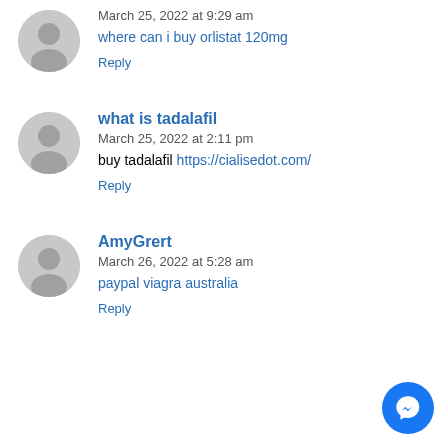March 25, 2022 at 9:29 am
where can i buy orlistat 120mg
Reply
what is tadalafil
March 25, 2022 at 2:11 pm
buy tadalafil https://cialisedot.com/
Reply
AmyGrert
March 26, 2022 at 5:28 am
paypal viagra australia
Reply